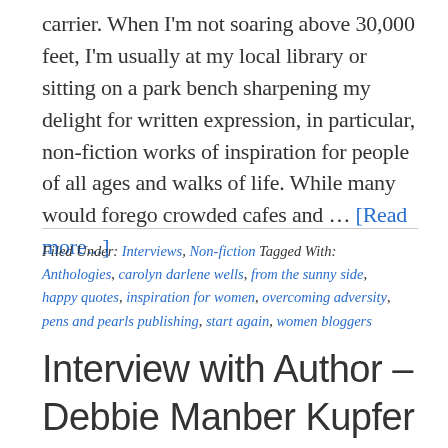carrier. When I'm not soaring above 30,000 feet, I'm usually at my local library or sitting on a park bench sharpening my delight for written expression, in particular, non-fiction works of inspiration for people of all ages and walks of life. While many would forego crowded cafes and … [Read more...]
Filed Under: Interviews, Non-fiction Tagged With: Anthologies, carolyn darlene wells, from the sunny side, happy quotes, inspiration for women, overcoming adversity, pens and pearls publishing, start again, women bloggers
Interview with Author – Debbie Manber Kupfer